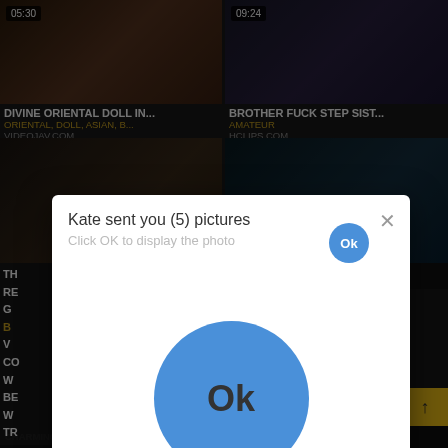[Figure (screenshot): Video thumbnail top-left with duration 05:30]
[Figure (screenshot): Video thumbnail top-right with duration 09:24]
DIVINE ORIENTAL DOLL IN...
BROTHER FUCK STEP SIST...
ORIENTAL, DOLL, ASIAN, B...
AMATEUR
VIDEOJAV.COM
HCLIPS.COM
[Figure (screenshot): Video thumbnail bottom-left partial]
[Figure (screenshot): Video thumbnail bottom-right partial]
[Figure (screenshot): Modal popup: Kate sent you (5) pictures - Click OK to display the photo, with large Ok button]
CHARMING SMALL BREAST...
NICE JAPANESE BITCH GET...